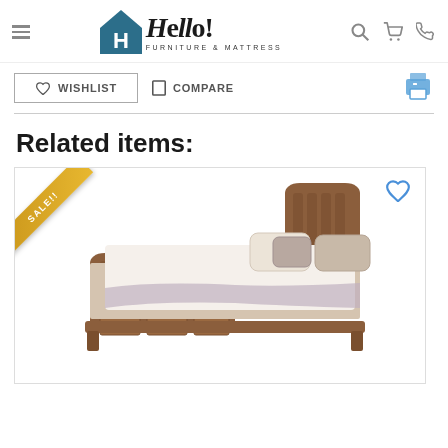[Figure (logo): Hello! Furniture & Mattress logo with house icon]
WISHLIST
COMPARE
Related items:
[Figure (photo): Wooden sleigh storage bed with drawer footboard, shown with bedding. SALE!! banner ribbon in top-left corner.]